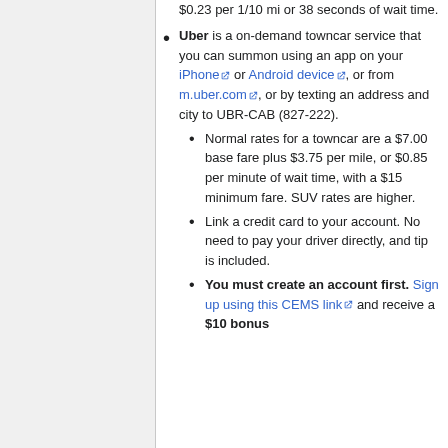$0.23 per 1/10 mi or 38 seconds of wait time.
Uber is a on-demand towncar service that you can summon using an app on your iPhone or Android device, or from m.uber.com, or by texting an address and city to UBR-CAB (827-222).
Normal rates for a towncar are a $7.00 base fare plus $3.75 per mile, or $0.85 per minute of wait time, with a $15 minimum fare. SUV rates are higher.
Link a credit card to your account. No need to pay your driver directly, and tip is included.
You must create an account first. Sign up using this CEMS link and receive a $10 bonus